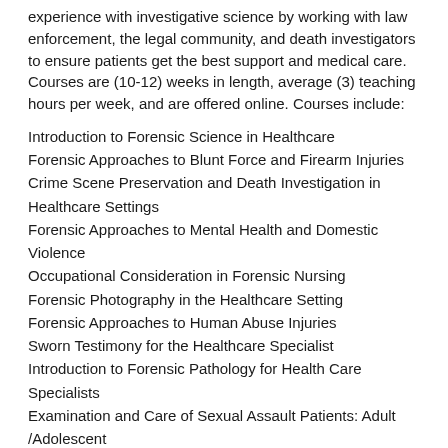experience with investigative science by working with law enforcement, the legal community, and death investigators to ensure patients get the best support and medical care. Courses are (10-12) weeks in length, average (3) teaching hours per week, and are offered online. Courses include:
Introduction to Forensic Science in Healthcare
Forensic Approaches to Blunt Force and Firearm Injuries
Crime Scene Preservation and Death Investigation in Healthcare Settings
Forensic Approaches to Mental Health and Domestic Violence
Occupational Consideration in Forensic Nursing
Forensic Photography in the Healthcare Setting
Forensic Approaches to Human Abuse Injuries
Sworn Testimony for the Healthcare Specialist
Introduction to Forensic Pathology for Health Care Specialists
Examination and Care of Sexual Assault Patients: Adult /Adolescent
Medical Ethics
Forensic Nurse Death Investigation
Responsibilities:
• Provide instruction in accordance with the established instructional agreement, curriculum outlines, and class